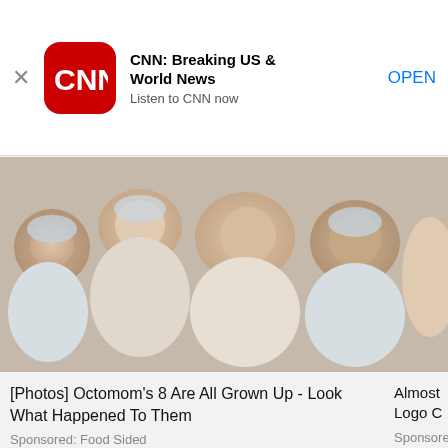[Figure (screenshot): CNN app banner with red CNN logo icon, app name, description, and OPEN button]
[Figure (photo): Photo of multiple newborn babies lying together, Octomom's 8 children]
[Photos] Octomom's 8 Are All Grown Up - Look What Happened To Them
Sponsored: Food Sided
Almost Logo C
Sponsore
Instantly identify flowers, trees, weeds, etc.
Sponsored: PictureThis - Plant Identifier
[Figure (photo): Thumbnail photo of a person, partially visible, with a dismiss X circle button]
8 Laptop Backpacks and Bags for Every Style and Budget